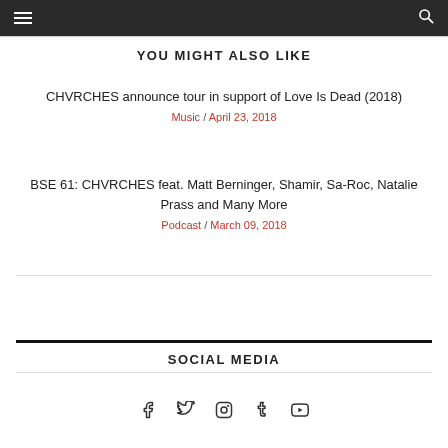≡  🔍
YOU MIGHT ALSO LIKE
CHVRCHES announce tour in support of Love Is Dead (2018)
Music / April 23, 2018
BSE 61: CHVRCHES feat. Matt Berninger, Shamir, Sa-Roc, Natalie Prass and Many More
Podcast / March 09, 2018
SOCIAL MEDIA
[Figure (other): Social media icons: Facebook, Twitter, Instagram, Tumblr, YouTube]